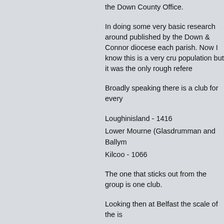the Down County Office.
In doing some very basic research around published by the Down & Connor diocese each parish. Now I know this is a very cru population but it was the only rough refere
Broadly speaking there is a club for every
Loughinisland - 1416
Lower Mourne (Glasdrumman and Ballym
Kilcoo - 1066
The one that sticks out from the group is one club.
Looking then at Belfast the scale of the is
Holy Rosary & St Bernadettes which is es population of 11557. Drumbo and Carryd are now more or less serviced by the Eas Colmcilles and St Anthony's. THe combin this year there was no club to provide an latter 3 parishes.
The above numbers would have an addo